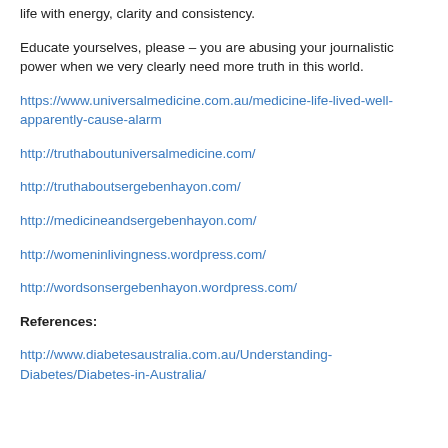life with energy, clarity and consistency.
Educate yourselves, please – you are abusing your journalistic power when we very clearly need more truth in this world.
https://www.universalmedicine.com.au/medicine-life-lived-well-apparently-cause-alarm
http://truthaboutuniversalmedicine.com/
http://truthaboutsergebenhayon.com/
http://medicineandsergebenhayon.com/
http://womeninlivingness.wordpress.com/
http://wordsonsergebenhayon.wordpress.com/
References:
http://www.diabetesaustralia.com.au/Understanding-Diabetes/Diabetes-in-Australia/